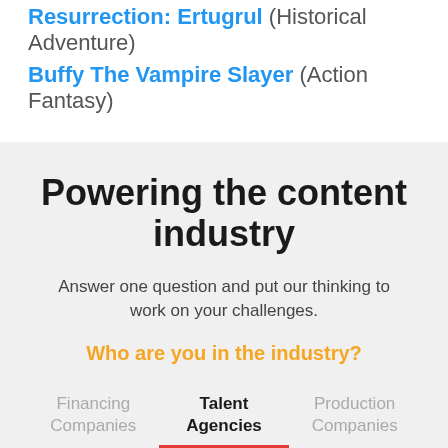Resurrection: Ertugrul (Historical Adventure)
Buffy The Vampire Slayer (Action Fantasy)
Powering the content industry
Answer one question and put our thinking to work on your challenges.
Who are you in the industry?
Financing Companies	Talent Agencies	Production Companies